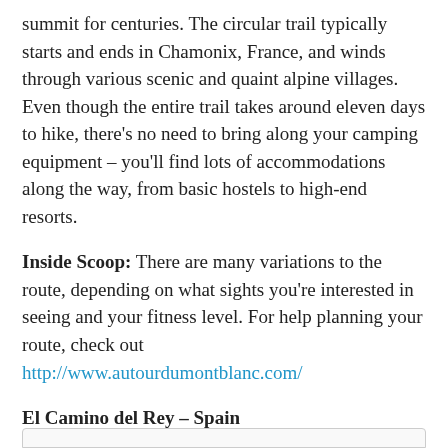summit for centuries. The circular trail typically starts and ends in Chamonix, France, and winds through various scenic and quaint alpine villages. Even though the entire trail takes around eleven days to hike, there's no need to bring along your camping equipment – you'll find lots of accommodations along the way, from basic hostels to high-end resorts.
Inside Scoop: There are many variations to the route, depending on what sights you're interested in seeing and your fitness level. For help planning your route, check out http://www.autourdumontblanc.com/
El Camino del Rey – Spain
Length: 472 miles (average)
Average hiking time: 35 days